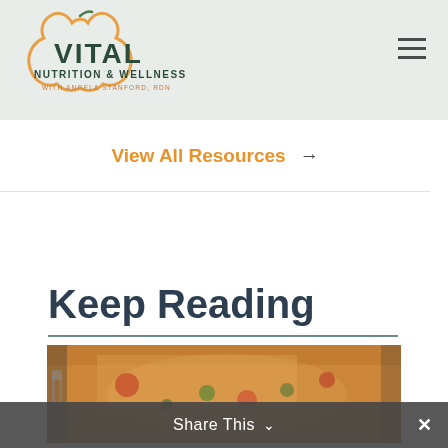[Figure (logo): Vital Nutrition & Wellness logo with apple icon and text 'VITAL NUTRITION & WELLNESS WITH ANGELA STANFORD, RDN']
View All Resources →
Keep Reading
[Figure (photo): Close-up photo of a grain salad dish with bulgur/quinoa, tomatoes, vegetables and a fork, garnished with parsley]
Share This ∨